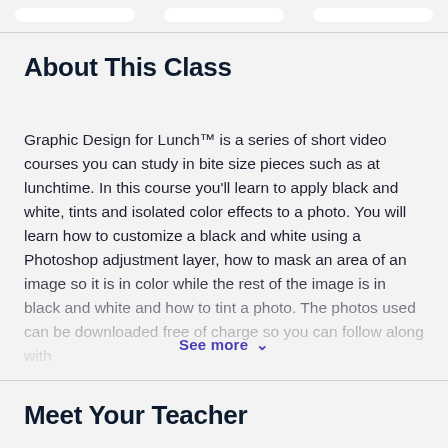About This Class
Graphic Design for Lunch™ is a series of short video courses you can study in bite size pieces such as at lunchtime. In this course you'll learn to apply black and white, tints and isolated color effects to a photo. You will learn how to customize a black and white using a Photoshop adjustment layer, how to mask an area of an image so it is in color while the rest of the image is in black and white and how to tint a photo. The photos used can be downloaded free of charge so you can follow along with
See more
Meet Your Teacher